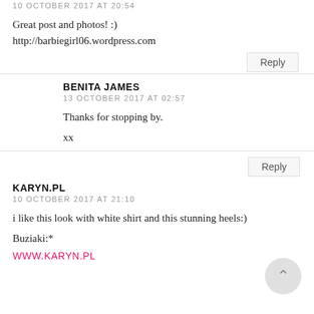10 OCTOBER 2017 AT 20:54
Great post and photos! :)
http://barbiegirl06.wordpress.com
Reply
BENITA JAMES
13 OCTOBER 2017 AT 02:57
Thanks for stopping by.
xx
Reply
KARYN.PL
10 OCTOBER 2017 AT 21:10
i like this look with white shirt and this stunning heels:)
Buziaki:*
WWW.KARYN.PL